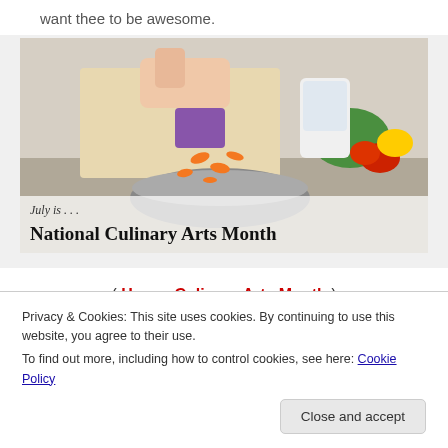want thee to be awesome.
[Figure (photo): Person chopping and pouring sliced carrots into a metal bowl, with vegetables in the background. Overlay text reads 'July is . . . National Culinary Arts Month']
( Happy Culinary Arts Month )
Privacy & Cookies: This site uses cookies. By continuing to use this website, you agree to their use.
To find out more, including how to control cookies, see here: Cookie Policy
Close and accept